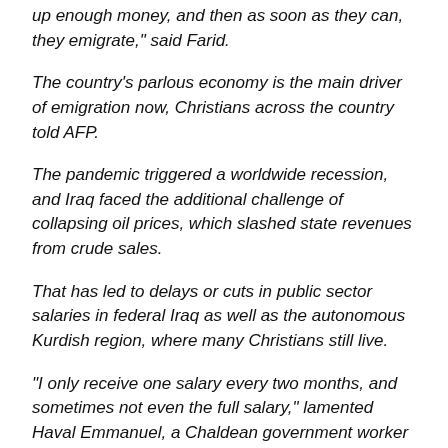up enough money, and then as soon as they can, they emigrate," said Farid.
The country's parlous economy is the main driver of emigration now, Christians across the country told AFP.
The pandemic triggered a worldwide recession, and Iraq faced the additional challenge of collapsing oil prices, which slashed state revenues from crude sales.
That has led to delays or cuts in public sector salaries in federal Iraq as well as the autonomous Kurdish region, where many Christians still live.
"I only receive one salary every two months, and sometimes not even the full salary," lamented Haval Emmanuel, a Chaldean government worker originally from northern Iraq.
"As soon as I get paid, I have to pay debts from the